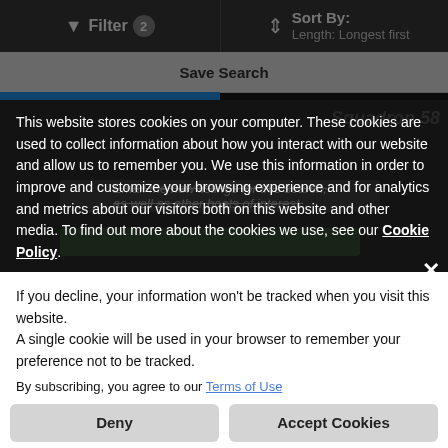Filter 2   Sort By: Length: Longest first
Save Search
This website stores cookies on your computer. These cookies are used to collect information about how you interact with our website and allow us to remember you. We use this information in order to improve and customize your browsing experience and for analytics and metrics about our visitors both on this website and other media. To find out more about the cookies we use, see our Cookie Policy.
If you decline, your information won't be tracked when you visit this website. A single cookie will be used in your browser to remember your preference not to be tracked.
By subscribing, you agree to our Terms of Use
Deny
Accept Cookies